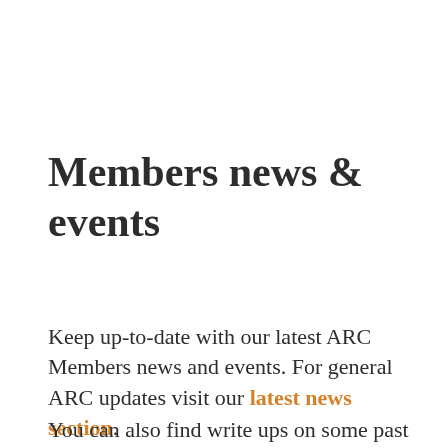Members news & events
Keep up-to-date with our latest ARC Members news and events. For general ARC updates visit our latest news section.
You can also find write ups on some past ARC